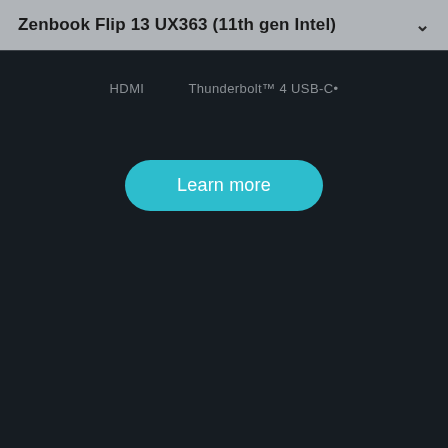Zenbook Flip 13 UX363 (11th gen Intel)
HDMI    Thunderbolt™ 4 USB-C•
Learn more